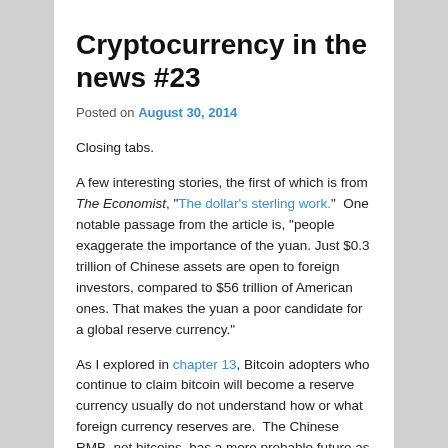Cryptocurrency in the news #23
Posted on August 30, 2014
Closing tabs.
A few interesting stories, the first of which is from The Economist, “The dollar’s sterling work.”  One notable passage from the article is, “people exaggerate the importance of the yuan. Just $0.3 trillion of Chinese assets are open to foreign investors, compared to $56 trillion of American ones. That makes the yuan a poor candidate for a global reserve currency.”
As I explored in chapter 13, Bitcoin adopters who continue to claim bitcoin will become a reserve currency usually do not understand how or what foreign currency reserves are.  The Chinese RMB, not bitcoins, has a more probable future as a reserve currency and as discussed by The